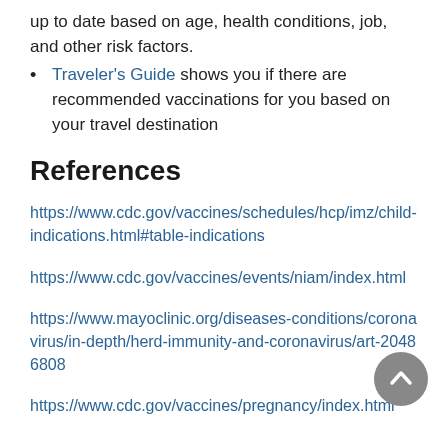up to date based on age, health conditions, job, and other risk factors.
Traveler's Guide shows you if there are recommended vaccinations for you based on your travel destination
References
https://www.cdc.gov/vaccines/schedules/hcp/imz/child-indications.html#table-indications
https://www.cdc.gov/vaccines/events/niam/index.html
https://www.mayoclinic.org/diseases-conditions/coronavirus/in-depth/herd-immunity-and-coronavirus/art-20486808
https://www.cdc.gov/vaccines/pregnancy/index.html